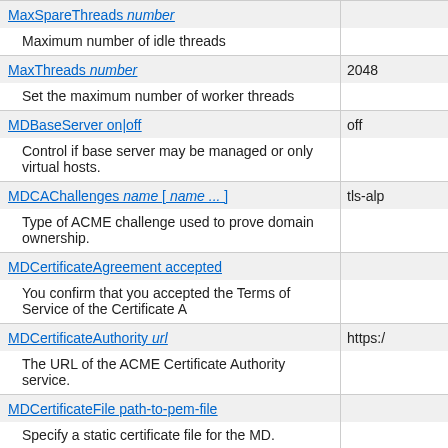| Directive | Default |
| --- | --- |
| MaxSpareThreads number |  |
| Maximum number of idle threads |  |
| MaxThreads number | 2048 |
| Set the maximum number of worker threads |  |
| MDBaseServer on|off | off |
| Control if base server may be managed or only virtual hosts. |  |
| MDCAChallenges name [ name ... ] | tls-alp |
| Type of ACME challenge used to prove domain ownership. |  |
| MDCertificateAgreement accepted |  |
| You confirm that you accepted the Terms of Service of the Certificate A |  |
| MDCertificateAuthority url | https:/ |
| The URL of the ACME Certificate Authority service. |  |
| MDCertificateFile path-to-pem-file |  |
| Specify a static certificate file for the MD. |  |
| MDCertificateKeyFile path-to-file |  |
| Specify a static private key for for the static cerrtificate. |  |
| MDCertificateProtocol protocol | ACME |
| The protocol to use with the Certificate Authority. |  |
| MDCertificateStatus on|off | on |
| Exposes public certificate information in JSON. |  |
| MDChallengeDns01 path-to-command |  |
| - |  |
| MDDriveMode always|auto|manual | auto |